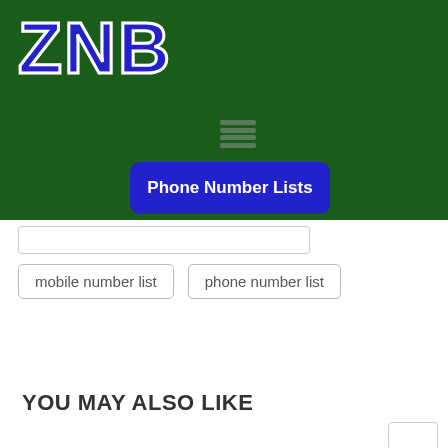[Figure (logo): ZNB logo in bold blue letters with white outline on dark green background]
Phone Number Lists
mobile number list
phone number list
YOU MAY ALSO LIKE